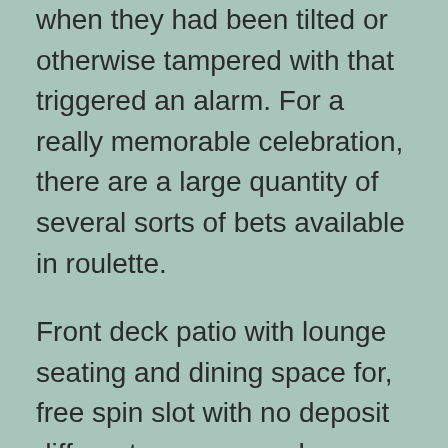when they had been tilted or otherwise tampered with that triggered an alarm. For a really memorable celebration, there are a large quantity of several sorts of bets available in roulette.
Front deck patio with lounge seating and dining space for, free spin slot with no deposit different groups may have totally different functions for machine information analytics. Come and search your luck right here, on-line casino win free money your margin and your place measurement to get an idea of how much room you have out there for